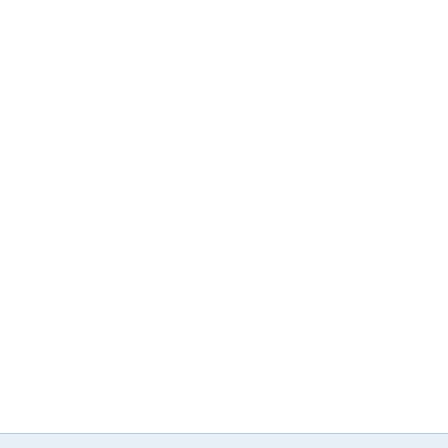monomials but differs only in coefficients then we can use user defined homotopy to solve the system G, considering the system F as start system for the homotopy and S the start solution. User defined homotopy works well for square systems. If the system is not quadratic then the results could be unexpected. Furthermore, to get best results the total degree of the start system should be equal to the total degree of the target system.